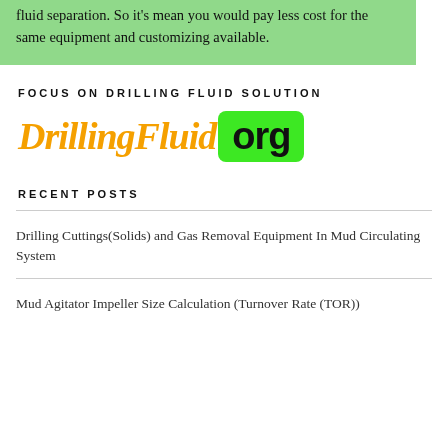fluid separation. So it's mean you would pay less cost for the same equipment and customizing available.
FOCUS ON DRILLING FLUID SOLUTION
[Figure (logo): DrillingFluid.org logo with orange text 'DrillingFluid' and '.org' in black text on bright green rounded rectangle background]
RECENT POSTS
Drilling Cuttings(Solids) and Gas Removal Equipment In Mud Circulating System
Mud Agitator Impeller Size Calculation (Turnover Rate (TOR))